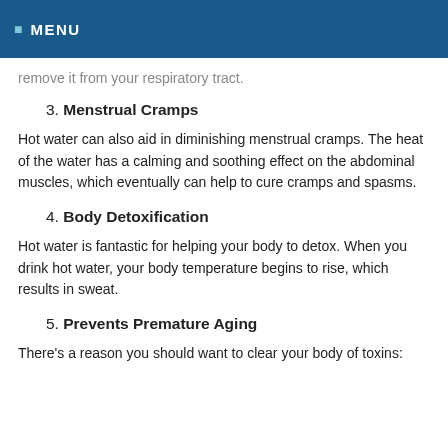☰ MENU
remove it from your respiratory tract.
3. Menstrual Cramps
Hot water can also aid in diminishing menstrual cramps. The heat of the water has a calming and soothing effect on the abdominal muscles, which eventually can help to cure cramps and spasms.
4. Body Detoxification
Hot water is fantastic for helping your body to detox. When you drink hot water, your body temperature begins to rise, which results in sweat.
5. Prevents Premature Aging
There's a reason you should want to clear your body of toxins: